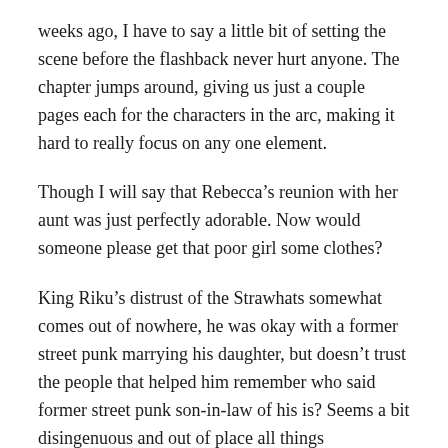weeks ago, I have to say a little bit of setting the scene before the flashback never hurt anyone. The chapter jumps around, giving us just a couple pages each for the characters in the arc, making it hard to really focus on any one element.
Though I will say that Rebecca's reunion with her aunt was just perfectly adorable. Now would someone please get that poor girl some clothes?
King Riku's distrust of the Strawhats somewhat comes out of nowhere, he was okay with a former street punk marrying his daughter, but doesn't trust the people that helped him remember who said former street punk son-in-law of his is? Seems a bit disingenuous and out of place all things considered. It does allow Oda to fit in a monologue about the evils of injust social elites but as a favorite writer of mine says, “Story first, then message” and it seems beneath Oda to insert a character trait on a character that has not shown any signs of said trait before